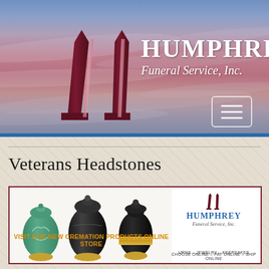[Figure (logo): Humphrey Funeral Service Inc. website header banner with sunset sky background, company logo mark (abstract arch/monument shape in dark red/maroon), company name HUMPHREY Funeral Service, Inc. in white text, and a hamburger menu button in bottom right]
Veterans Headstones
[Figure (advertisement): Advertisement banner for Humphrey Funeral Service Inc. Cremation Products Online Store featuring three decorative urns (teal/green, black, and black with gold band), the Humphrey Funeral Service Inc. logo mark and name, text: VISIT OUR NEW CREMATION PRODUCTS ONLINE STORE, URNS - JEWELRY - KEEPSAKES, CHOOSE ONLINE - PAY ONLINE - SHIP ONLINE]